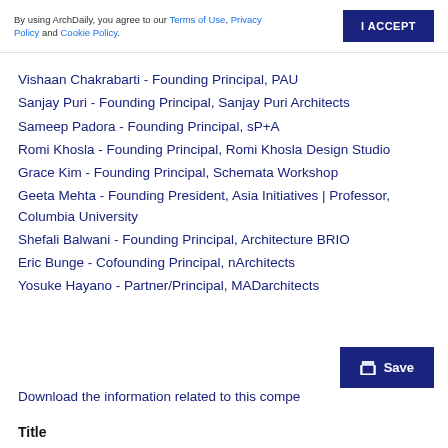By using ArchDaily, you agree to our Terms of Use, Privacy Policy and Cookie Policy.
Vishaan Chakrabarti - Founding Principal, PAU
Sanjay Puri - Founding Principal, Sanjay Puri Architects
Sameep Padora - Founding Principal, sP+A
Romi Khosla - Founding Principal, Romi Khosla Design Studio
Grace Kim - Founding Principal, Schemata Workshop
Geeta Mehta - Founding President, Asia Initiatives | Professor, Columbia University
Shefali Balwani - Founding Principal, Architecture BRIO
Eric Bunge - Cofounding Principal, nArchitects
Yosuke Hayano - Partner/Principal, MADarchitects
Download the information related to this competition
Title